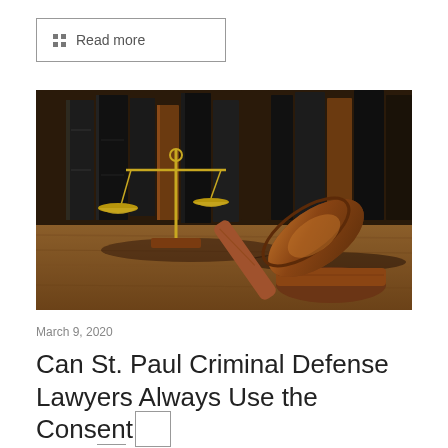Read more
[Figure (photo): A wooden judge's gavel resting on its sound block, with brass scales of justice and a row of old leather-bound law books in the background, all on a wooden surface.]
March 9, 2020
Can St. Paul Criminal Defense Lawyers Always Use the Consent Defense in Court?